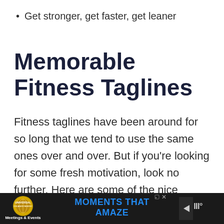Get stronger, get faster, get leaner
Memorable Fitness Taglines
Fitness taglines have been around for so long that we tend to use the same ones over and over. But if you're looking for some fresh motivation, look no further. Here are some of the nice fitness taglines that can be…
[Figure (other): Advertisement banner for Universal Orlando Resort Meetings & Events: 'Moments That Amaze']